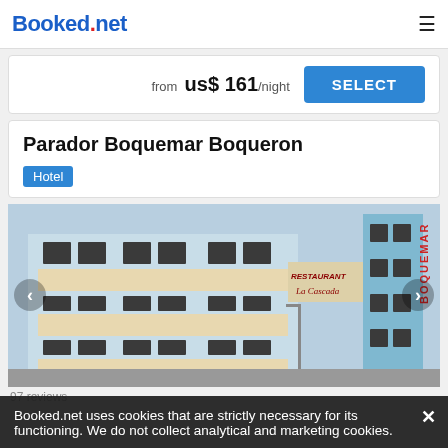Booked.net
from us$ 161/night SELECT
Parador Boquemar Boqueron
Hotel
[Figure (photo): Exterior photograph of Parador Boquemar Boqueron hotel building — a multi-story light blue building with large windows, a Restaurant La Cascada sign, and vertical BOQUEMAR HOTEL lettering on the right side.]
Booked.net uses cookies that are strictly necessary for its functioning. We do not collect analytical and marketing cookies.
97 reviews